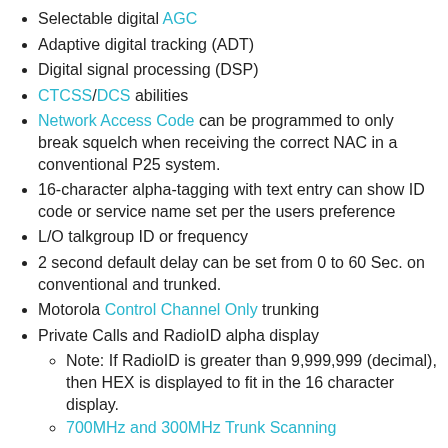Selectable digital AGC
Adaptive digital tracking (ADT)
Digital signal processing (DSP)
CTCSS/DCS abilities
Network Access Code can be programmed to only break squelch when receiving the correct NAC in a conventional P25 system.
16-character alpha-tagging with text entry can show ID code or service name set per the users preference
L/O talkgroup ID or frequency
2 second default delay can be set from 0 to 60 Sec. on conventional and trunked.
Motorola Control Channel Only trunking
Private Calls and RadioID alpha display
Note: If RadioID is greater than 9,999,999 (decimal), then HEX is displayed to fit in the 16 character display.
700MHz and 300MHz Trunk Scanning